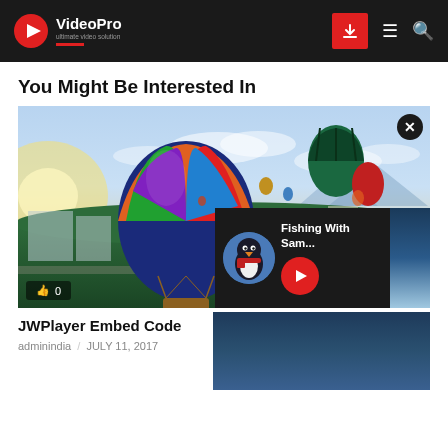VideoPro — Ultimate video solution
You Might Be Interested In
[Figure (photo): Hot air balloons floating over a green cityscape at sunrise/dusk, with a large colorful balloon in the foreground.]
[Figure (screenshot): YouTube video overlay showing 'Fishing With Sam...' with a penguin avatar, YouTube play button, and icy background.]
JWPlayer Embed Code
adminindia / JULY 11, 2017